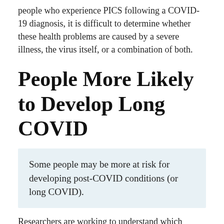people who experience PICS following a COVID-19 diagnosis, it is difficult to determine whether these health problems are caused by a severe illness, the virus itself, or a combination of both.
People More Likely to Develop Long COVID
Some people may be more at risk for developing post-COVID conditions (or long COVID).
Researchers are working to understand which people or groups of people are more likely to have post-COVID conditions, and why. Studies have shown that some groups of people may be affected more by post-COVID conditions. These are examples and not a